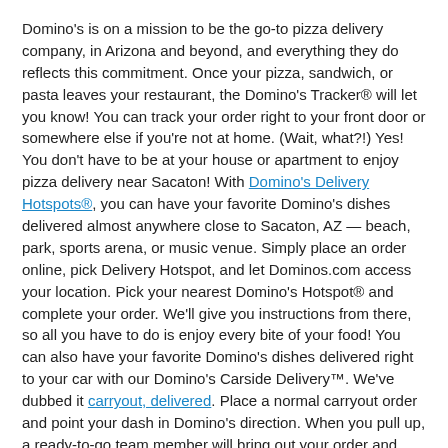Domino's is on a mission to be the go-to pizza delivery company, in Arizona and beyond, and everything they do reflects this commitment. Once your pizza, sandwich, or pasta leaves your restaurant, the Domino's Tracker® will let you know! You can track your order right to your front door or somewhere else if you're not at home. (Wait, what?!) Yes! You don't have to be at your house or apartment to enjoy pizza delivery near Sacaton! With Domino's Delivery Hotspots®, you can have your favorite Domino's dishes delivered almost anywhere close to Sacaton, AZ — beach, park, sports arena, or music venue. Simply place an order online, pick Delivery Hotspot, and let Dominos.com access your location. Pick your nearest Domino's Hotspot® and complete your order. We'll give you instructions from there, so all you have to do is enjoy every bite of your food! You can also have your favorite Domino's dishes delivered right to your car with our Domino's Carside Delivery™. We've dubbed it carryout, delivered. Place a normal carryout order and point your dash in Domino's direction. When you pull up, a ready-to-go team member will bring out your order and place it in your car. Backseat or trunk — you pick. It's totally smart and totally contact-free.